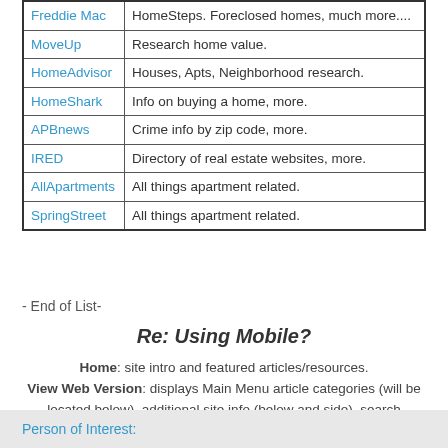| Site | Description |
| --- | --- |
| Freddie Mac | HomeSteps. Foreclosed homes, much more.... |
| MoveUp | Research home value. |
| HomeAdvisor | Houses, Apts, Neighborhood research. |
| HomeShark | Info on buying a home, more. |
| APBnews | Crime info by zip code, more. |
| IRED | Directory of real estate websites, more. |
| AllApartments | All things apartment related. |
| SpringStreet | All things apartment related. |
- End of List-
Re: Using Mobile?
Home: site intro and featured articles/resources. View Web Version: displays Main Menu article categories (will be located below), additional site info (below and side), search function, translation function.
Person of Interest: